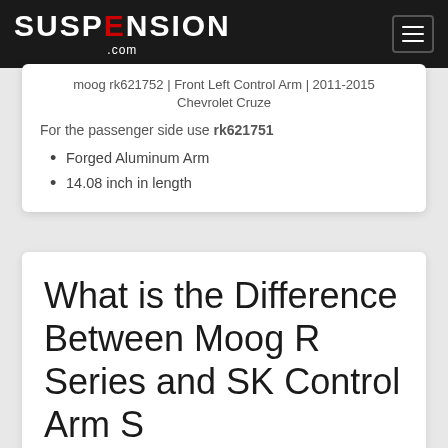Suspension.com
Moog rk621752 | Front Left Control Arm | 2011-2015 Chevrolet Cruze
For the passenger side use rk621751
Forged Aluminum Arm
14.08 inch in length
What is the Difference Between Moog R Series and SK Control Arm S...